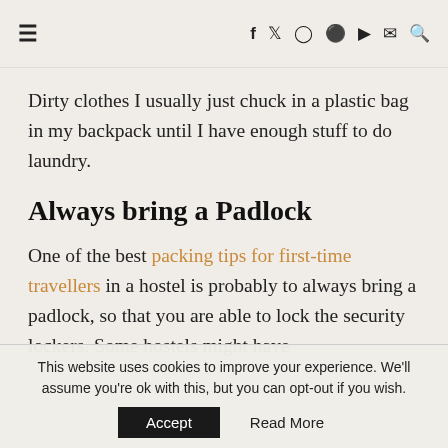☰  f  🐦  📷  𝗣  ▶  ✉  🔍
Dirty clothes I usually just chuck in a plastic bag in my backpack until I have enough stuff to do laundry.
Always bring a Padlock
One of the best packing tips for first-time travellers in a hostel is probably to always bring a padlock, so that you are able to lock the security lockers. Some hostels might have
This website uses cookies to improve your experience. We'll assume you're ok with this, but you can opt-out if you wish. Accept  Read More